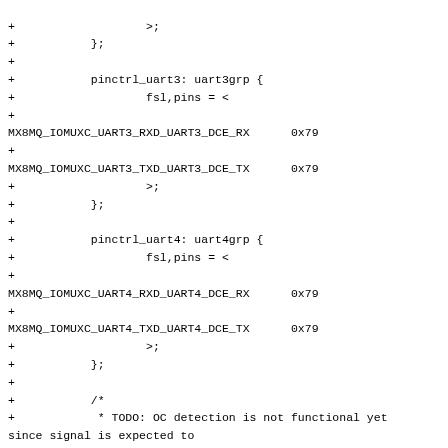+                   >;
+           };
+
+           pinctrl_uart3: uart3grp {
+                   fsl,pins = <
+
MX8MQ_IOMUXC_UART3_RXD_UART3_DCE_RX      0x79
+
MX8MQ_IOMUXC_UART3_TXD_UART3_DCE_TX      0x79
+                   >;
+           };
+
+           pinctrl_uart4: uart4grp {
+                   fsl,pins = <
+
MX8MQ_IOMUXC_UART4_RXD_UART4_DCE_RX      0x79
+
MX8MQ_IOMUXC_UART4_TXD_UART4_DCE_TX      0x79
+                   >;
+           };
+
+           /*
+            * TODO: OC detection is not functional yet since signal is expected to
+            * be low active. HW on MBa8Mx has high active signalling
+            * See:
https://community.nxp.com/message/1247228?commentID=1247228#comment-1247228
+            */